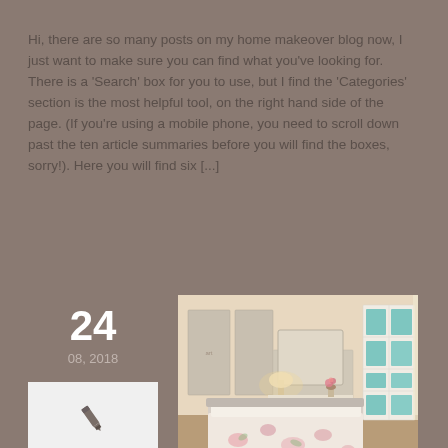Hi, there are so many posts on my home makeover blog now, I just want to make sure you can find what you've looking for. There is a 'Search' box for you to use, but I find the 'Categories' section is the most helpful tool, on the right hand side of the page. (If you're using a mobile phone, you need to scroll down past the ten article summaries before you will find the boxes, sorry!). Here you will find six [...]
24
08, 2018
[Figure (illustration): White box with a pen/quill icon in grey]
[Figure (photo): A bedroom interior with floral bedding, a white vanity with mirror, a lamp, flower vase, and a white glass-door wardrobe/cabinet with teal blue boxes inside. Warm beige tones.]